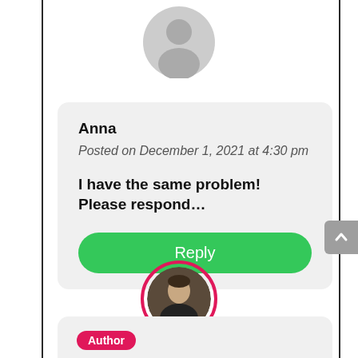[Figure (illustration): Gray default user avatar silhouette at top center]
Anna
Posted on December 1, 2021 at 4:30 pm
I have the same problem! Please respond…
Reply
[Figure (photo): Circular profile photo of Nelson Lee Miller with pink border]
Author
Nelson Lee Miller (aka The Divi